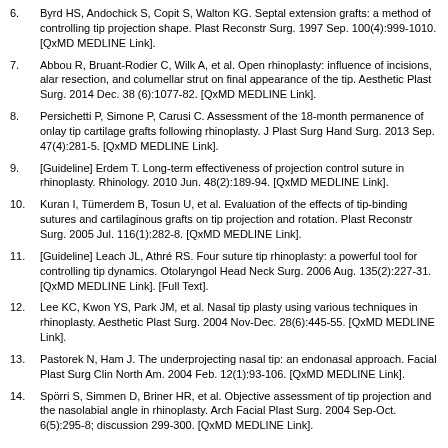6. Byrd HS, Andochick S, Copit S, Walton KG. Septal extension grafts: a method of controlling tip projection shape. Plast Reconstr Surg. 1997 Sep. 100(4):999-1010. [QxMD MEDLINE Link].
7. Abbou R, Bruant-Rodier C, Wilk A, et al. Open rhinoplasty: influence of incisions, alar resection, and columellar strut on final appearance of the tip. Aesthetic Plast Surg. 2014 Dec. 38 (6):1077-82. [QxMD MEDLINE Link].
8. Persichetti P, Simone P, Carusi C. Assessment of the 18-month permanence of onlay tip cartilage grafts following rhinoplasty. J Plast Surg Hand Surg. 2013 Sep. 47(4):281-5. [QxMD MEDLINE Link].
9. [Guideline] Erdem T. Long-term effectiveness of projection control suture in rhinoplasty. Rhinology. 2010 Jun. 48(2):189-94. [QxMD MEDLINE Link].
10. Kuran I, Tümerdem B, Tosun U, et al. Evaluation of the effects of tip-binding sutures and cartilaginous grafts on tip projection and rotation. Plast Reconstr Surg. 2005 Jul. 116(1):282-8. [QxMD MEDLINE Link].
11. [Guideline] Leach JL, Athré RS. Four suture tip rhinoplasty: a powerful tool for controlling tip dynamics. Otolaryngol Head Neck Surg. 2006 Aug. 135(2):227-31. [QxMD MEDLINE Link]. [Full Text].
12. Lee KC, Kwon YS, Park JM, et al. Nasal tip plasty using various techniques in rhinoplasty. Aesthetic Plast Surg. 2004 Nov-Dec. 28(6):445-55. [QxMD MEDLINE Link].
13. Pastorek N, Ham J. The underprojecting nasal tip: an endonasal approach. Facial Plast Surg Clin North Am. 2004 Feb. 12(1):93-106. [QxMD MEDLINE Link].
14. Spörri S, Simmen D, Briner HR, et al. Objective assessment of tip projection and the nasolabial angle in rhinoplasty. Arch Facial Plast Surg. 2004 Sep-Oct. 6(5):295-8; discussion 299-300. [QxMD MEDLINE Link].